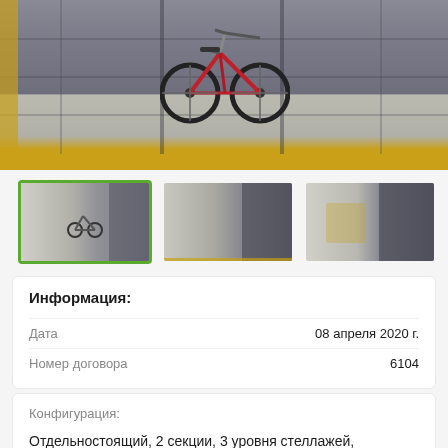[Figure (photo): Main photo of a bicycle stored in a metal garage storage unit in an underground parking lot, with a yellow safety bar at the bottom]
[Figure (photo): Three thumbnail photos of garage storage units in underground parking]
Информация:
| Дата | 08 апреля 2020 г. |
| --- | --- |
| Номер договора | 6104 |
Конфигурация:
Отдельностоящий, 2 секции, 3 уровня стеллажей, наполнение до 150 кг.